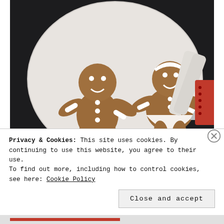[Figure (photo): Two gingerbread man cookies decorated with white royal icing, sitting on a white plate on a dark background. To the right, piping bags are visible next to a red container. Watermark reads @slightlynarightlygirl.com]
My piping skills aren't that good.
Royal Icing
Privacy & Cookies: This site uses cookies. By continuing to use this website, you agree to their use.
To find out more, including how to control cookies, see here: Cookie Policy
Close and accept